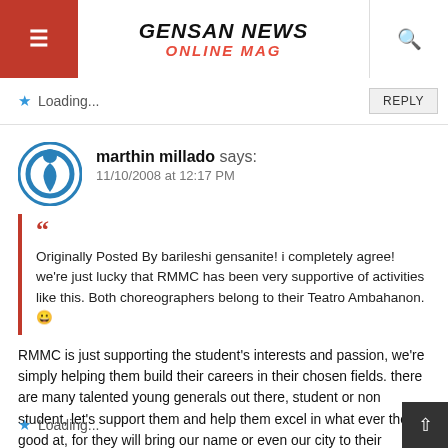[Figure (logo): Gensan News Online Mag logo with hamburger menu and search icon in header]
Loading...
REPLY
marthin millado says: 11/10/2008 at 12:17 PM
Originally Posted By barileshi gensanite! i completely agree! we're just lucky that RMMC has been very supportive of activities like this. Both choreographers belong to their Teatro Ambahanon. 🙂
RMMC is just supporting the student's interests and passion, we're simply helping them build their careers in their chosen fields. there are many talented young generals out there, student or non student, let's support them and help them excel in what ever they're good at, for they will bring our name or even our city to their triumph.
Loading...